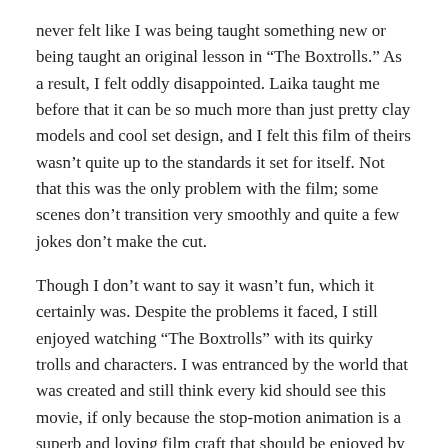never felt like I was being taught something new or being taught an original lesson in “The Boxtrolls.” As a result, I felt oddly disappointed. Laika taught me before that it can be so much more than just pretty clay models and cool set design, and I felt this film of theirs wasn’t quite up to the standards it set for itself. Not that this was the only problem with the film; some scenes don’t transition very smoothly and quite a few jokes don’t make the cut.
Though I don’t want to say it wasn’t fun, which it certainly was. Despite the problems it faced, I still enjoyed watching “The Boxtrolls” with its quirky trolls and characters. I was entranced by the world that was created and still think every kid should see this movie, if only because the stop-motion animation is a superb and loving film craft that should be enjoyed by everyone. I just wish this package by Laika could have seated itself deeper in my heart by just a little more.
Ryan Funes is a lover of all things movie, TV, video games and stories and wants to become a television writer someday. In his spare time he enjoys hanging with friends, tapping into his imagination, and watching cartoons of all kinds.